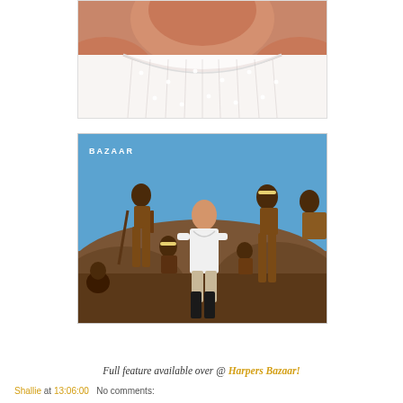[Figure (photo): Close-up photo of a person's neck and upper chest area wearing a white lace/eyelet top with polka dot pattern. The image is cropped showing skin tone against white fabric with decorative lace neckline.]
[Figure (photo): Harper's Bazaar magazine photo shoot featuring a woman in white sitting on rocks surrounded by indigenous African children and adults in an outdoor desert setting. The BAZAAR logo is visible in the upper left corner.]
Full feature available over @ Harpers Bazaar!
Shallie at 13:06:00   No comments: